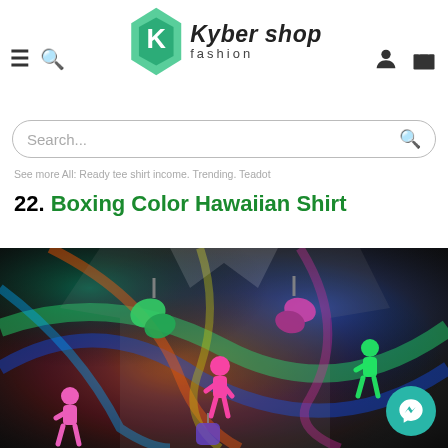Kyber Shop Fashion — navigation header with logo, hamburger menu, search icon, user icon, cart icon
Search...
See more All: Ready tee shirt income. Trending. Teadot
22. Boxing Color Hawaiian Shirt
[Figure (photo): A colorful Hawaiian shirt with boxing-themed print featuring neon boxer silhouettes and boxing gloves on a dark swirling multicolor background.]